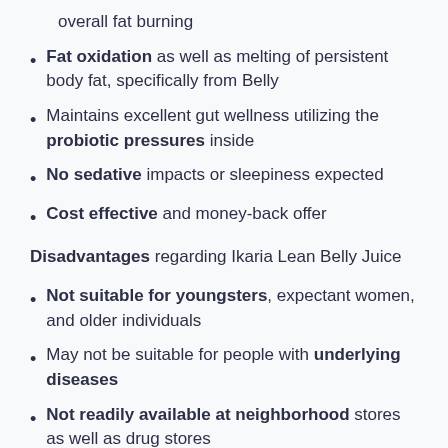overall fat burning
Fat oxidation as well as melting of persistent body fat, specifically from Belly
Maintains excellent gut wellness utilizing the probiotic pressures inside
No sedative impacts or sleepiness expected
Cost effective and money-back offer
Disadvantages regarding Ikaria Lean Belly Juice
Not suitable for youngsters, expectant women, and older individuals
May not be suitable for people with underlying diseases
Not readily available at neighborhood stores as well as drug stores